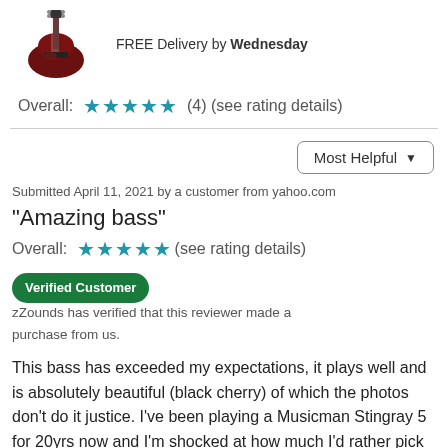[Figure (photo): Product image of a dark red/black cherry electric bass guitar]
FREE Delivery by Wednesday
Overall: ★★★★★ (4) (see rating details)
Most Helpful ▼
Submitted April 11, 2021 by a customer from yahoo.com
"Amazing bass"
Overall: ★★★★★(see rating details)
Verified Customer   zZounds has verified that this reviewer made a purchase from us.
This bass has exceeded my expectations, it plays well and is absolutely beautiful (black cherry) of which the photos don't do it justice. I've been playing a Musicman Stingray 5 for 20yrs now and I'm shocked at how much I'd rather pick